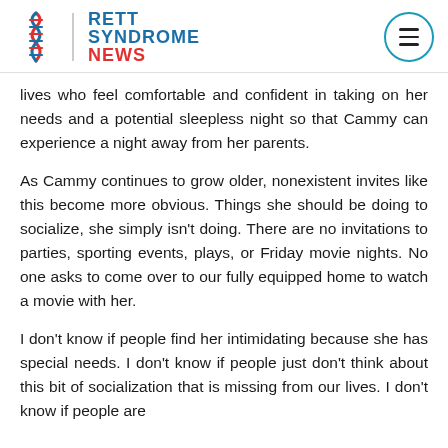Rett Syndrome News
lives who feel comfortable and confident in taking on her needs and a potential sleepless night so that Cammy can experience a night away from her parents.
As Cammy continues to grow older, nonexistent invites like this become more obvious. Things she should be doing to socialize, she simply isn't doing. There are no invitations to parties, sporting events, plays, or Friday movie nights. No one asks to come over to our fully equipped home to watch a movie with her.
I don't know if people find her intimidating because she has special needs. I don't know if people just don't think about this bit of socialization that is missing from our lives. I don't know if people are